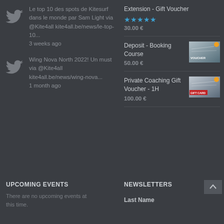Le top 10 des spots de Kitesurf dans le monde par Sam Light via @Kite4all kite4all.be/news/le-top-10... 3 weeks ago
Wing Nova North 2022! Un must via @Kite4all kite4all.be/news/wing-nova... 1 month ago
Extension - Gift Voucher
30.00 €
[Figure (other): Voucher thumbnail image for Deposit - Booking Course]
Deposit - Booking Course
50.00 €
[Figure (other): Voucher thumbnail image for Private Coaching Gift Voucher - 1H]
Private Coaching Gift Voucher - 1H
100.00 €
UPCOMING EVENTS
NEWSLETTERS
There are no upcoming events at this time.
Last Name